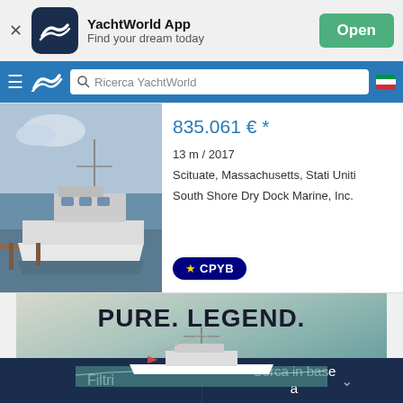[Figure (screenshot): YachtWorld app banner with icon, name, tagline, and Open button]
[Figure (screenshot): Navigation bar with hamburger menu, YachtWorld logo, search box, and Italian flag]
835.061 € *
13 m / 2017
Scituate, Massachusetts, Stati Uniti
South Shore Dry Dock Marine, Inc.
[Figure (photo): Boat docked at marina]
[Figure (logo): CPYB certified professional yacht broker badge]
[Figure (photo): Advertisement banner: PURE. LEGEND. with boat on water]
Filtri
Cerca in base a